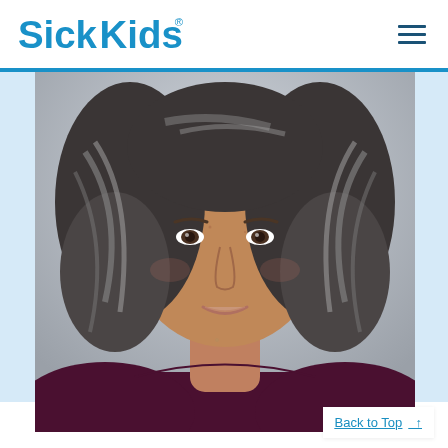SickKids
[Figure (photo): Portrait photo of a middle-aged woman with short grey-black hair, wearing a dark maroon/purple top, smiling gently, against a grey background.]
Back to Top ↑